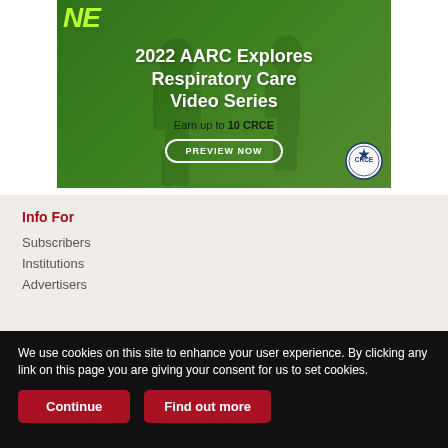[Figure (illustration): 2022 AARC Explores Respiratory Care Video Series promotional banner. Green gradient background with silhouette of person. Text: 'NEW 2022 AARC Explores Respiratory Care Video Series. Earn up to 10 CRCE. PREVIEW NOW'. CRCE accreditation seal in bottom right.]
Info For
Subscribers
Institutions
Advertisers
We use cookies on this site to enhance your user experience. By clicking any link on this page you are giving your consent for us to set cookies.